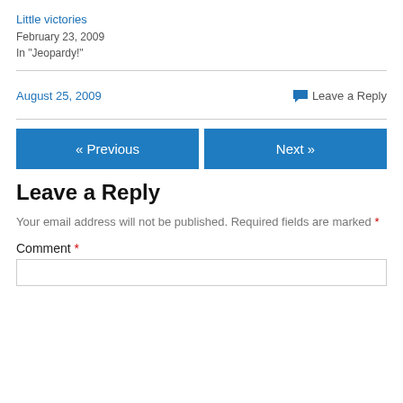Little victories
February 23, 2009
In "Jeopardy!"
August 25, 2009
💬 Leave a Reply
« Previous
Next »
Leave a Reply
Your email address will not be published. Required fields are marked *
Comment *